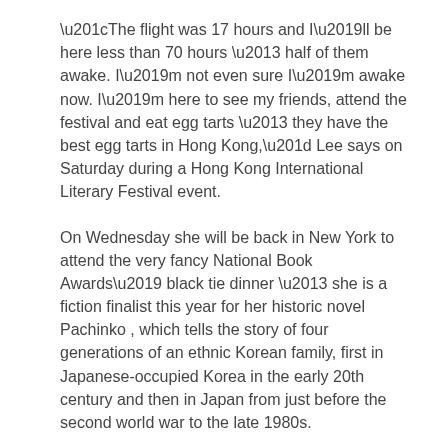“The flight was 17 hours and I’ll be here less than 70 hours – half of them awake. I’m not even sure I’m awake now. I’m here to see my friends, attend the festival and eat egg tarts – they have the best egg tarts in Hong Kong,” Lee says on Saturday during a Hong Kong International Literary Festival event.
On Wednesday she will be back in New York to attend the very fancy National Book Awards’ black tie dinner – she is a fiction finalist this year for her historic novel Pachinko , which tells the story of four generations of an ethnic Korean family, first in Japanese-occupied Korea in the early 20th century and then in Japan from just before the second world war to the late 1980s.
“I’ve got a 20 per cent chance of winning – there are five finalists,” she says.